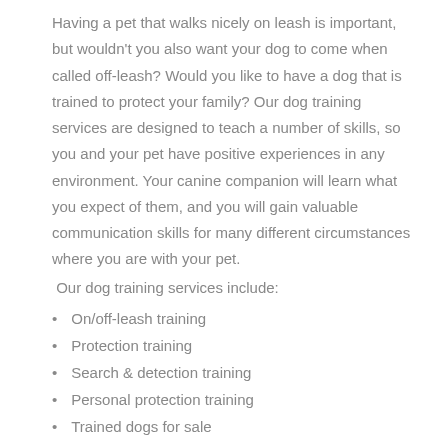Having a pet that walks nicely on leash is important, but wouldn't you also want your dog to come when called off-leash? Would you like to have a dog that is trained to protect your family? Our dog training services are designed to teach a number of skills, so you and your pet have positive experiences in any environment. Your canine companion will learn what you expect of them, and you will gain valuable communication skills for many different circumstances where you are with your pet. Our dog training services include:
On/off-leash training
Protection training
Search & detection training
Personal protection training
Trained dogs for sale
At Dogs By Andy K-9 Services, we also believe in providing comprehensive dog training services, and if